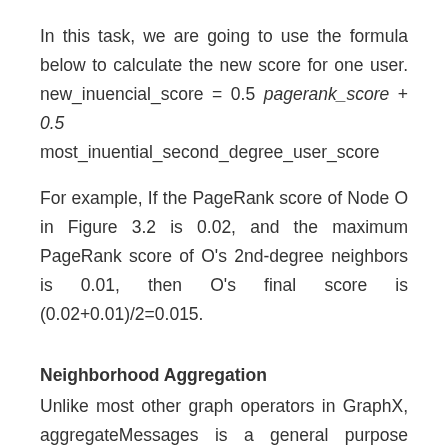In this task, we are going to use the formula below to calculate the new score for one user. new_inuencial_score = 0.5 pagerank_score + 0.5 most_inuential_second_degree_user_score
For example, If the PageRank score of Node O in Figure 3.2 is 0.02, and the maximum PageRank score of O's 2nd-degree neighbors is 0.01, then O's final score is (0.02+0.01)/2=0.015.
Neighborhood Aggregation
Unlike most other graph operators in GraphX, aggregateMessages is a general purpose mechanism to enable parallel computation on a